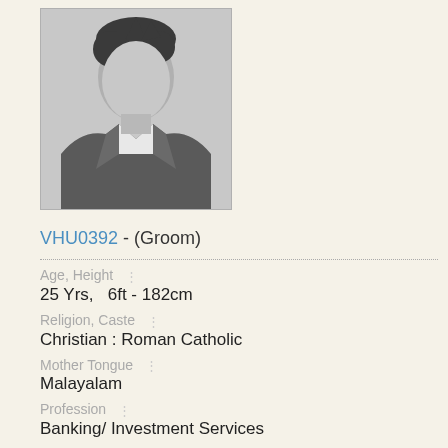[Figure (photo): Male silhouette placeholder profile photo, grey tones, formal attire]
VHU0392 - (Groom)
Age, Height
25 Yrs,   6ft - 182cm
Religion, Caste
Christian : Roman Catholic
Mother Tongue
Malayalam
Profession
Banking/ Investment Services
Education
Doctorate in Commerce
Location
India - Kerala - Alleppey
Open minded, fun, understanding, ...